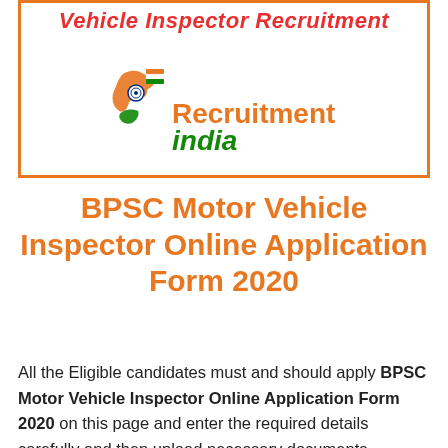Vehicle Inspector Recruitment
[Figure (logo): RecruitmentIndia logo with India map icon in orange and green colors]
BPSC Motor Vehicle Inspector Online Application Form 2020
All the Eligible candidates must and should apply BPSC Motor Vehicle Inspector Online Application Form 2020 on this page and enter the required details carefully and then upload necessary documents. Remember the candidates, While submitting the Application Form you can re-check all the mentioned details carefully. And also